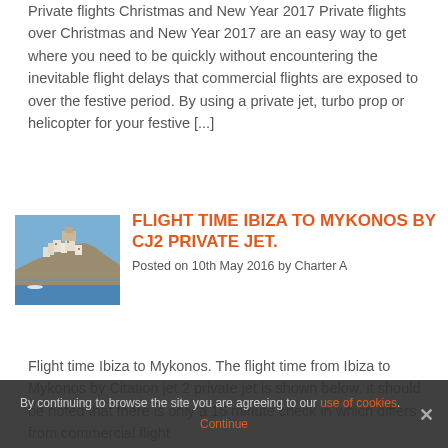Private flights Christmas and New Year 2017 Private flights over Christmas and New Year 2017 are an easy way to get where you need to be quickly without encountering the inevitable flight delays that commercial flights are exposed to over the festive period. By using a private jet, turbo prop or helicopter for your festive [...]
[Figure (photo): Photo of Ibiza coastal scene with white buildings on a hillside]
FLIGHT TIME IBIZA TO MYKONOS BY CJ2 PRIVATE JET.
Posted on 10th May 2016 by Charter A
Flight time Ibiza to Mykonos. The flight time from Ibiza to Mykonos by Citation jet 2 private jet is shown below. it should be noted that there is only a 15 minute check in which differs from commercial flight
By continuing to browse the site you are agreeing to our use of cookies. Continue